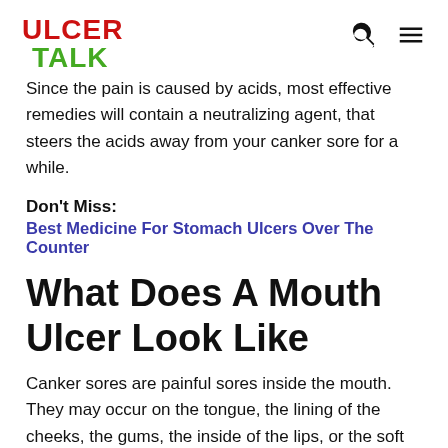ULCER TALK
Since the pain is caused by acids, most effective remedies will contain a neutralizing agent, that steers the acids away from your canker sore for a while.
Don't Miss:
Best Medicine For Stomach Ulcers Over The Counter
What Does A Mouth Ulcer Look Like
Canker sores are painful sores inside the mouth. They may occur on the tongue, the lining of the cheeks, the gums, the inside of the lips, or the soft palate on the back of the roof of your mouth. Crater-like ulcers that are white, gray,